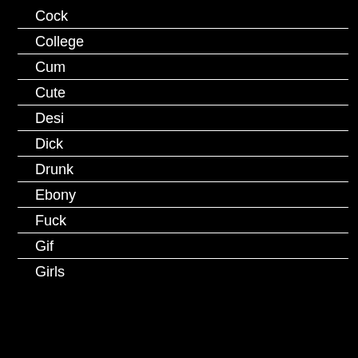Cock
College
Cum
Cute
Desi
Dick
Drunk
Ebony
Fuck
Gif
Girls